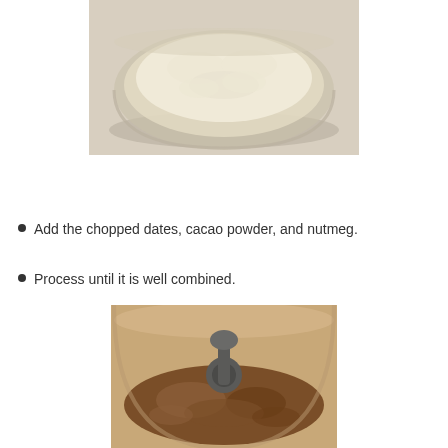[Figure (photo): A glass bowl filled with finely ground white/cream colored powder (likely almond flour or ground nuts) viewed from above, sitting on a light countertop.]
Add the chopped dates, cacao powder, and nutmeg.
Process until it is well combined.
[Figure (photo): A food processor bowl containing a brown mixture (processed dates, cacao powder, and nutmeg) with the central blade and spindle visible, showing a well-combined crumbly brown mixture.]